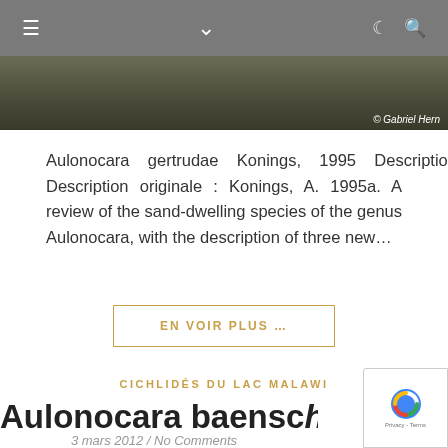≡  ∨  ☾  🔍
[Figure (photo): Partial photograph of fish or aquatic scene with photographer credit '© Gabriel Hern']
Aulonocara gertrudae Konings, 1995 Description Description originale : Konings, A. 1995a. A review of the sand-dwelling species of the genus Aulonocara, with the description of three new...
EN VOIR PLUS …
CICHLIDÉS DU LAC MALAWI
Aulonocara baenschi
3 mars 2012 / No Comments